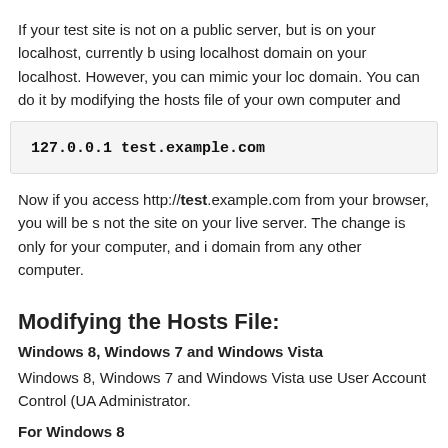If your test site is not on a public server, but is on your localhost, currently b using localhost domain on your localhost. However, you can mimic your loc domain. You can do it by modifying the hosts file of your own computer and
127.0.0.1 test.example.com
Now if you access http://test.example.com from your browser, you will be s not the site on your live server. The change is only for your computer, and i domain from any other computer.
Modifying the Hosts File:
Windows 8, Windows 7 and Windows Vista
Windows 8, Windows 7 and Windows Vista use User Account Control (UA Administrator.
For Windows 8